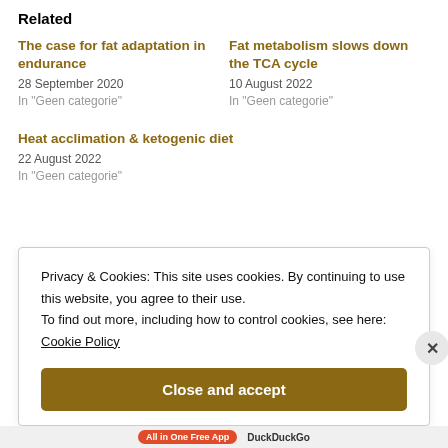Related
The case for fat adaptation in endurance
28 September 2020
In "Geen categorie"
Fat metabolism slows down the TCA cycle
10 August 2022
In "Geen categorie"
Heat acclimation & ketogenic diet
22 August 2022
In "Geen categorie"
Privacy & Cookies: This site uses cookies. By continuing to use this website, you agree to their use.
To find out more, including how to control cookies, see here:
Cookie Policy
Close and accept